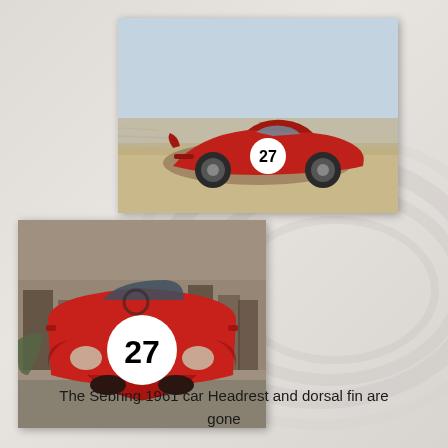[Figure (photo): Ferrari race car number 27 in red, photographed from the side while racing on a track, motion blur in background]
[Figure (photo): Ferrari race car number 27 in red, photographed from the front at pit stop, mechanics visible in background]
The Sebring 1961 car Headrest and dorsal fin are gone